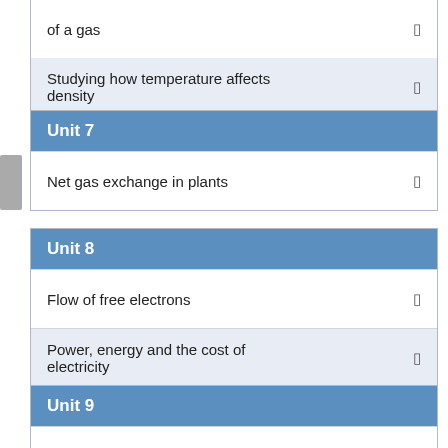of a gas
Studying how temperature affects density
Unit 7
Net gas exchange in plants
Unit 8
Flow of free electrons
Power, energy and the cost of electricity
Unit 9
pH values of different substances